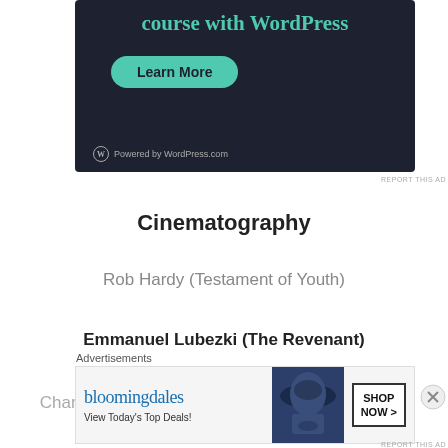[Figure (screenshot): WordPress.com advertisement banner with dark background showing 'course with WordPress' text, a teal 'Learn More' button, and 'Powered by WordPress.com' branding]
REPORT THIS AD
Cinematography
Rob Hardy (Testament of Youth)
Emmanuel Lubezki (The Revenant)
Charlotte Bruus Christensen (Far from the Madding...
Advertisements
[Figure (screenshot): Bloomingdale's advertisement banner with logo, 'View Today's Top Deals!' text, photo of woman in hat, and 'SHOP NOW >' button]